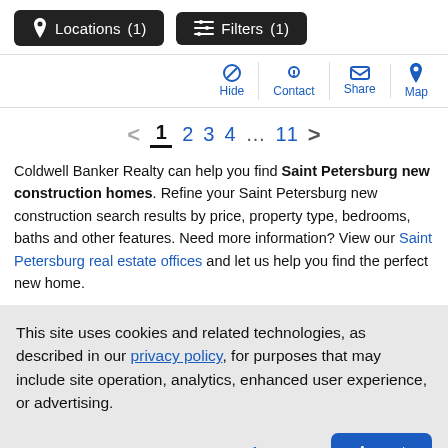Locations (1)   Filters (1)
[Figure (screenshot): Toolbar with Hide, Contact, Share, Map icon buttons]
< 1 2 3 4 … 11 >
Coldwell Banker Realty can help you find Saint Petersburg new construction homes. Refine your Saint Petersburg new construction search results by price, property type, bedrooms, baths and other features. Need more information? View our Saint Petersburg real estate offices and let us help you find the perfect new home.
This site uses cookies and related technologies, as described in our privacy policy, for purposes that may include site operation, analytics, enhanced user experience, or advertising.
Manage Preferences   Accept